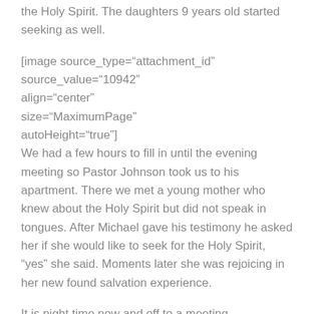the Holy Spirit. The daughters 9 years old started seeking as well.
[image source_type="attachment_id" source_value="10942" align="center" size="MaximumPage" autoHeight="true"]
We had a few hours to fill in until the evening meeting so Pastor Johnson took us to his apartment. There we met a young mother who knew about the Holy Spirit but did not speak in tongues. After Michael gave his testimony he asked her if she would like to seek for the Holy Spirit, "yes" she said. Moments later she was rejoicing in her new found salvation experience.
It is night time now and off to a meeting